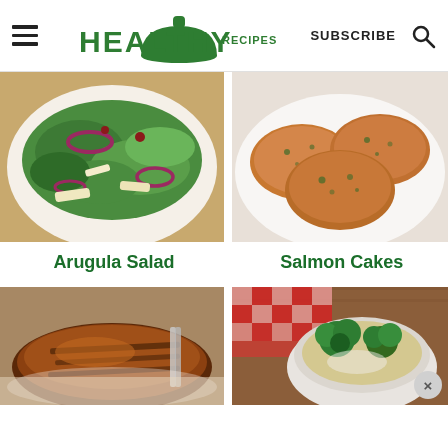HEALTHY RECIPES | SUBSCRIBE
[Figure (photo): Arugula salad with red onion and parmesan shavings on a white plate]
[Figure (photo): Salmon cakes on a white plate]
Arugula Salad
Salmon Cakes
[Figure (photo): Grilled chicken or meat dish with sauce]
[Figure (photo): Broccoli soup or casserole in a bowl with red checkered cloth]